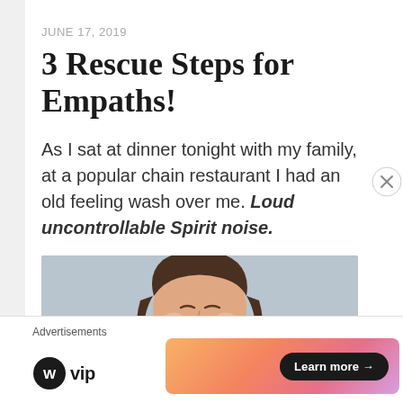JUNE 17, 2019
3 Rescue Steps for Empaths!
As I sat at dinner tonight with my family, at a popular chain restaurant I had an old feeling wash over me. Loud uncontrollable Spirit noise.
[Figure (photo): Woman with hands pressed over her ears, eyes shut, appearing distressed, against a light blue-gray background]
Advertisements
[Figure (logo): WordPress VIP logo - WP circle logo followed by 'vip' text]
[Figure (infographic): Colorful gradient advertisement banner with 'Learn more →' button in dark pill shape]